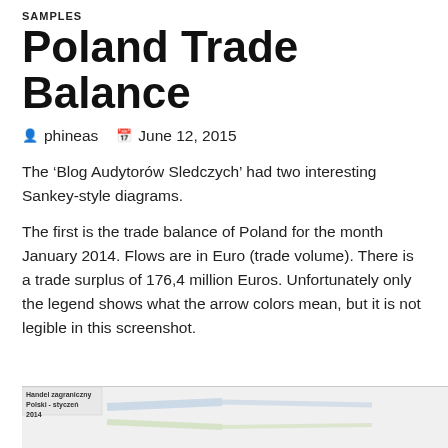SAMPLES
Poland Trade Balance
phineas   June 12, 2015
The ‘Blog Audytorów Sledczych’ had two interesting Sankey-style diagrams.
The first is the trade balance of Poland for the month January 2014. Flows are in Euro (trade volume). There is a trade surplus of 176,4 million Euros. Unfortunately only the legend shows what the arrow colors mean, but it is not legible in this screenshot.
[Figure (screenshot): Partial screenshot of a Sankey-style diagram labeled 'Handel zagraniczny Polski - styczeń 2014']